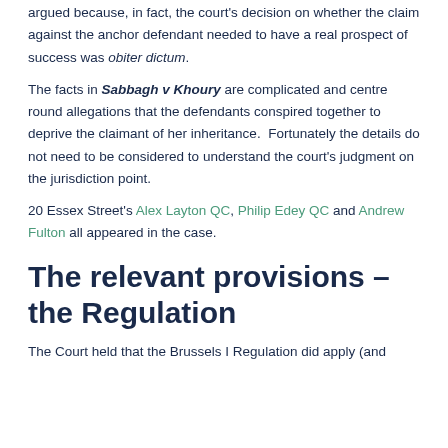argued because, in fact, the court's decision on whether the claim against the anchor defendant needed to have a real prospect of success was obiter dictum.
The facts in Sabbagh v Khoury are complicated and centre round allegations that the defendants conspired together to deprive the claimant of her inheritance.  Fortunately the details do not need to be considered to understand the court's judgment on the jurisdiction point.
20 Essex Street's Alex Layton QC, Philip Edey QC and Andrew Fulton all appeared in the case.
The relevant provisions – the Regulation
The Court held that the Brussels I Regulation did apply (and rejected the submission that the...